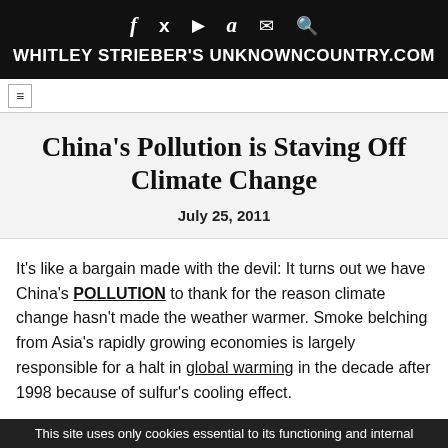f  🐦  ▶  a  ✉  🔍  WHITLEY STRIEBER'S UNKNOWNCOUNTRY.COM
China's Pollution is Staving Off Climate Change
July 25, 2011
It's like a bargain made with the devil: It turns out we have China's POLLUTION to thank for the reason climate change hasn't made the weather warmer. Smoke belching from Asia's rapidly growing economies is largely responsible for a halt in global warming in the decade after 1998 because of sulfur's cooling effect.
This site uses only cookies essential to its functioning and internal